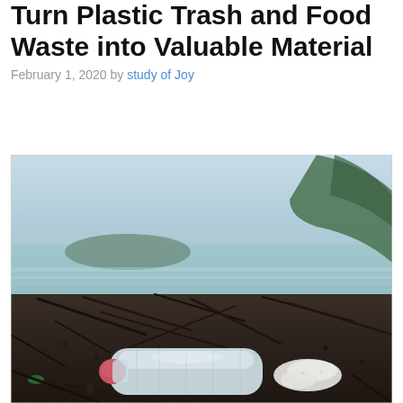Turn Plastic Trash and Food Waste into Valuable Material
February 1, 2020 by study of Joy
[Figure (photo): A plastic water bottle with a pink cap lying on a beach among debris, driftwood, and white foam material, with a calm sea and green island hills in the background.]